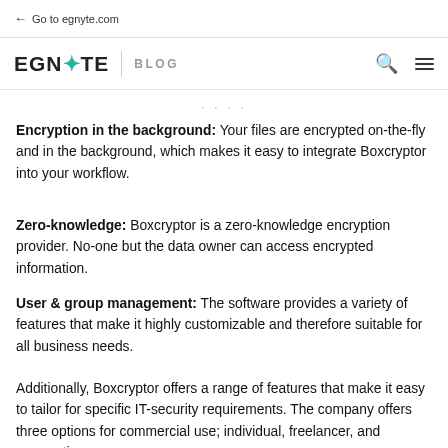← Go to egnyte.com
EGNYTE | BLOG
Encryption in the background: Your files are encrypted on-the-fly and in the background, which makes it easy to integrate Boxcryptor into your workflow.
Zero-knowledge: Boxcryptor is a zero-knowledge encryption provider. No-one but the data owner can access encrypted information.
User & group management: The software provides a variety of features that make it highly customizable and therefore suitable for all business needs.
Additionally, Boxcryptor offers a range of features that make it easy to tailor for specific IT-security requirements. The company offers three options for commercial use; individual, freelancer, and corporation.